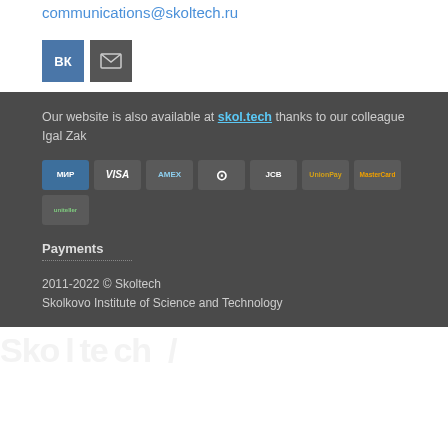communications@skoltech.ru
[Figure (infographic): VK social media icon (blue) and email envelope icon (grey)]
Our website is also available at skol.tech thanks to our colleague Igal Zak
[Figure (infographic): Payment method icons: МИР, VISA, AMEX, Diners Club, JCB, UnionPay, Mastercard, Uniteller]
Payments
2011-2022 © Skoltech
Skolkovo Institute of Science and Technology